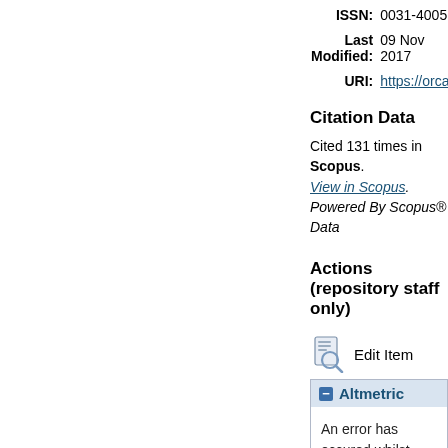ISSN: 0031-4005
Last Modified: 09 Nov 2017
URI: https://orca.
Citation Data
Cited 131 times in Scopus. View in Scopus. Powered By Scopus® Data
Actions (repository staff only)
Edit Item
Altmetric
An error has occured whilst retrieving data from Altmetric.